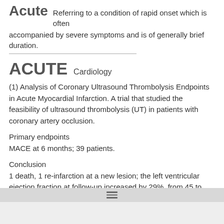Acute  Referring to a condition of rapid onset which is often accompanied by severe symptoms and is of generally brief duration.
ACUTE   Cardiology
(1) Analysis of Coronary Ultrasound Thrombolysis Endpoints in Acute Myocardial Infarction. A trial that studied the feasibility of ultrasound thrombolysis (UT) in patients with coronary artery occlusion.
Primary endpoints
MACE at 6 months; 39 patients.
Conclusion
1 death, 1 re-infarction at a new lesion; the left ventricular ejection fraction at follow-up increased by 29%, from 45 to 74%; primary coronary UT in high clot-burden lesions induces re-perfusion and highly significant myocardial salvage.
(2) Assessment of Cardioversion Utilizing Transesophageal